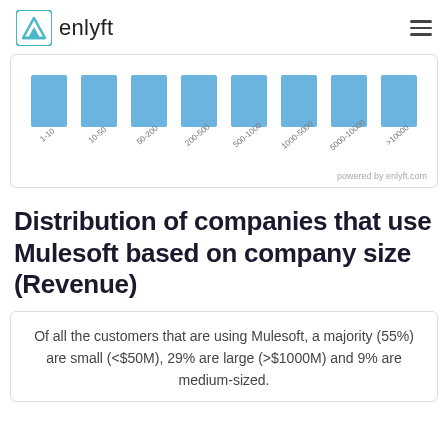enlyft
[Figure (bar-chart): Bar chart showing distribution of companies using Mulesoft by employee size. All bars appear roughly equal height in blue.]
Distribution of companies that use Mulesoft based on company size (Revenue)
Of all the customers that are using Mulesoft, a majority (55%) are small (<$50M), 29% are large (>$1000M) and 9% are medium-sized.